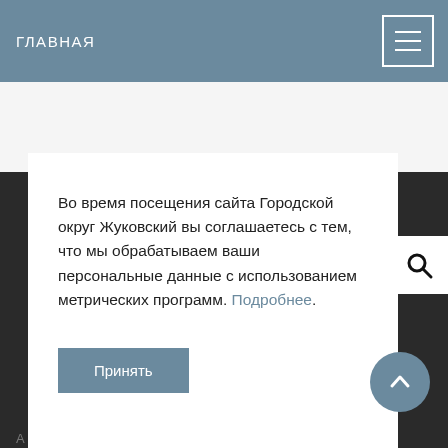ГЛАВНАЯ
Во время посещения сайта Городской округ Жуковский вы соглашаетесь с тем, что мы обрабатываем ваши персональные данные с использованием метрических программ. Подробнее.
Принять